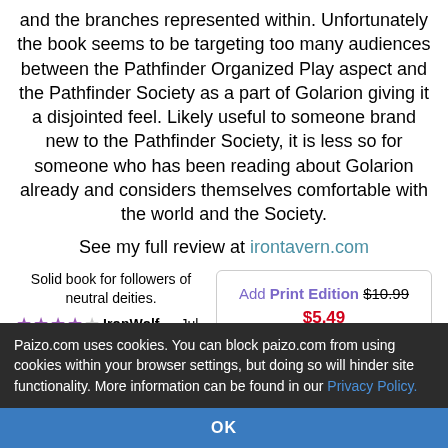and the branches represented within. Unfortunately the book seems to be targeting too many audiences between the Pathfinder Organized Play aspect and the Pathfinder Society as a part of Golarion giving it a disjointed feel. Likely useful to someone brand new to the Pathfinder Society, it is less so for someone who has been reading about Golarion already and considers themselves comfortable with the world and the Society.
See my full review at irontavern.com
Solid book for followers of neutral deities.
IronWolf — Jul 27, 2011, 07:44 pm
Faiths of Balance is a
Add Print Edition $10.99 $5.49 Add PDF $7.99 Non-Mint Unavailable
Paizo.com uses cookies. You can block paizo.com from using cookies within your browser settings, but doing so will hinder site functionality. More information can be found in our Privacy Policy.
OK